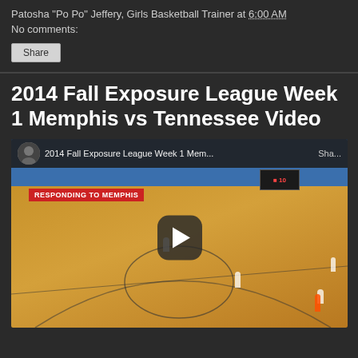Patosha "Po Po" Jeffery, Girls Basketball Trainer at 6:00 AM
No comments:
Share
2014 Fall Exposure League Week 1 Memphis vs Tennessee Video
[Figure (screenshot): YouTube video embed showing a girls basketball game on an indoor court. A red banner reads 'RESPONDING TO MEMPHIS'. The video title bar reads '2014 Fall Exposure League Week 1 Mem...' with a share button. A play button is overlaid in the center of the video.]